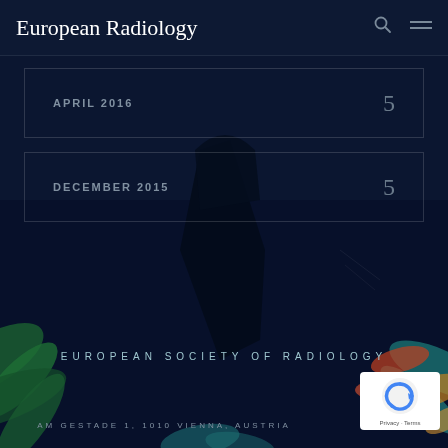European Radiology
APRIL 2016   5
DECEMBER 2015   5
[Figure (illustration): Dark navy background with colorful floral/leaf decorative art silhouettes and abstract geometric shapes — the visual background of the European Society of Radiology website]
EUROPEAN SOCIETY OF RADIOLOGY
AM GESTADE 1, 1010 VIENNA, AUSTRIA